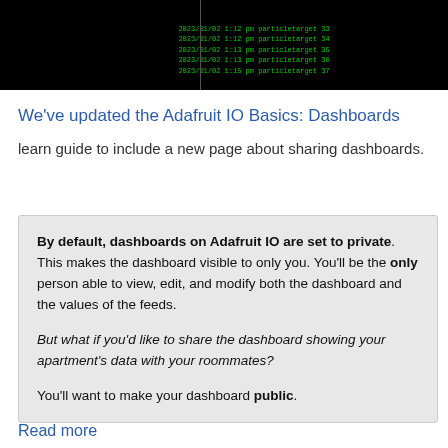[Figure (screenshot): Terminal window showing green text log entries on black background with a vertical divider line]
We've updated the Adafruit IO Basics: Dashboards learn guide to include a new page about sharing dashboards.
By default, dashboards on Adafruit IO are set to private. This makes the dashboard visible to only you. You'll be the only person able to view, edit, and modify both the dashboard and the values of the feeds.

But what if you'd like to share the dashboard showing your apartment's data with your roommates?

You'll want to make your dashboard public.
Read more